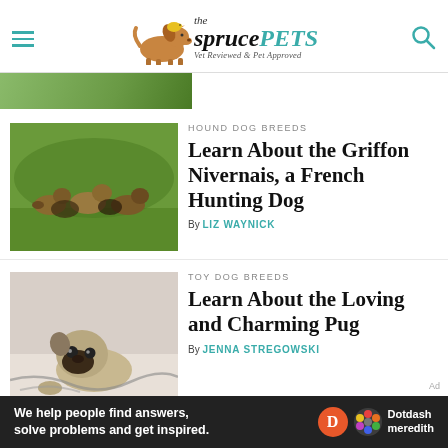the spruce PETS — Vet Reviewed & Pet Approved
[Figure (photo): Green outdoor scene image strip at top left]
[Figure (photo): Group of Griffon Nivernais dogs standing on grass]
HOUND DOG BREEDS
Learn About the Griffon Nivernais, a French Hunting Dog
By LIZ WAYNICK
[Figure (photo): Pug dog lying on a surface with cables nearby]
TOY DOG BREEDS
Learn About the Loving and Charming Pug
By JENNA STREGOWSKI
We help people find answers, solve problems and get inspired. Dotdash meredith — Ad